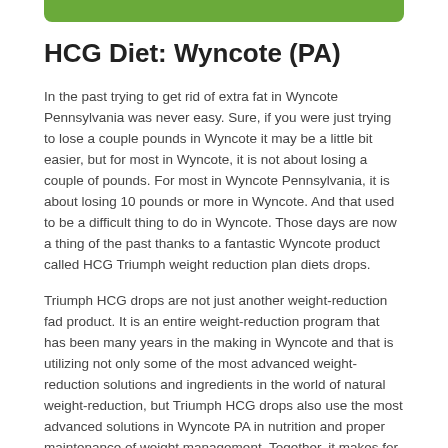[Figure (other): Green decorative bar at top of page]
HCG Diet: Wyncote (PA)
In the past trying to get rid of extra fat in Wyncote Pennsylvania was never easy. Sure, if you were just trying to lose a couple pounds in Wyncote it may be a little bit easier, but for most in Wyncote, it is not about losing a couple of pounds. For most in Wyncote Pennsylvania, it is about losing 10 pounds or more in Wyncote. And that used to be a difficult thing to do in Wyncote. Those days are now a thing of the past thanks to a fantastic Wyncote product called HCG Triumph weight reduction plan diets drops.
Triumph HCG drops are not just another weight-reduction fad product. It is an entire weight-reduction program that has been many years in the making in Wyncote and that is utilizing not only some of the most advanced weight-reduction solutions and ingredients in the world of natural weight-reduction, but Triumph HCG drops also use the most advanced solutions in Wyncote PA in nutrition and proper maintenance of weight management. Together, it makes for a Pennsylvania weight-reduction program that is very effective and that is also incredibly quick in Wyncote. With the